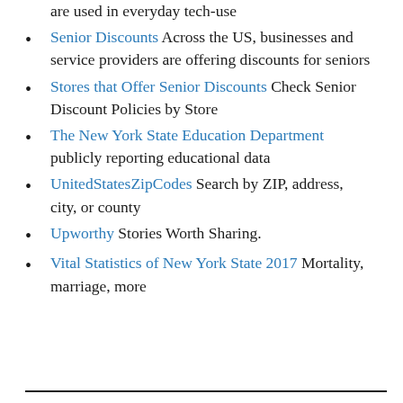are used in everyday tech-use
Senior Discounts Across the US, businesses and service providers are offering discounts for seniors
Stores that Offer Senior Discounts Check Senior Discount Policies by Store
The New York State Education Department publicly reporting educational data
UnitedStatesZipCodes Search by ZIP, address, city, or county
Upworthy Stories Worth Sharing.
Vital Statistics of New York State 2017 Mortality, marriage, more